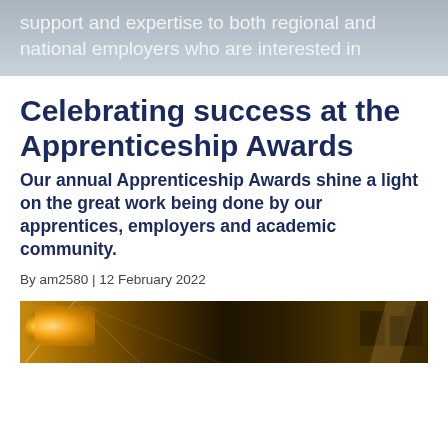support and expertise to both regional and national employers who are interested in
Celebrating success at the Apprenticeship Awards
Our annual Apprenticeship Awards shine a light on the great work being done by our apprentices, employers and academic community.
By am2580 | 12 February 2022
[Figure (photo): Warm-toned photograph showing an interior venue scene with golden/amber lighting, likely an awards ceremony venue.]